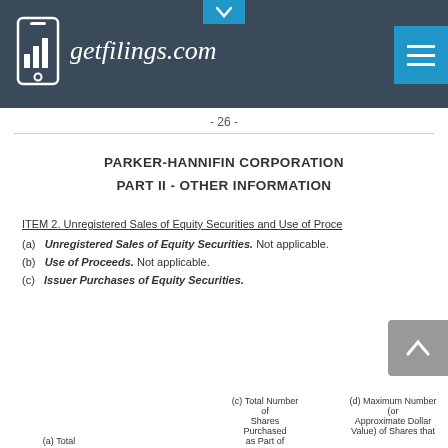getfilings.com
- 26 -
PARKER-HANNIFIN CORPORATION
PART II - OTHER INFORMATION
ITEM 2. Unregistered Sales of Equity Securities and Use of Proceeds
(a) Unregistered Sales of Equity Securities. Not applicable.
(b) Use of Proceeds. Not applicable.
(c) Issuer Purchases of Equity Securities.
| (a) Total | (c) Total Number of Shares Purchased as Part of | (d) Maximum Number (or Approximate Dollar Value) of Shares that |
| --- | --- | --- |